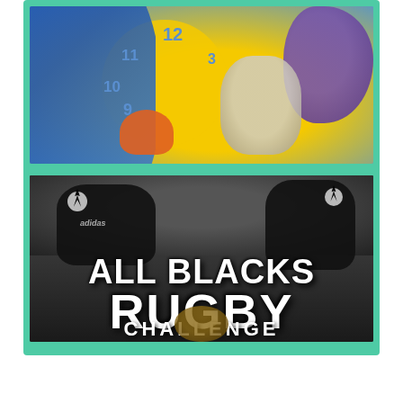[Figure (illustration): Looney Tunes cartoon characters (Goofy-like blue character, Bugs Bunny, purple hippo, orange claw) around a large clock face with numbers 9, 10, 11, 12 visible on a blue and yellow background.]
[Figure (photo): All Blacks Rugby Challenge promotional image. Rugby players in black All Blacks jerseys with silver fern logos are shown at the top. Large white bold text reads 'ALL BLACKS' on first line, 'RUGBY' on second line, and 'CHALLENGE' on third line, against a dark background.]